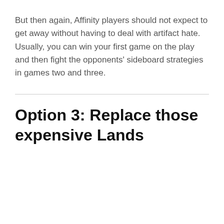But then again, Affinity players should not expect to get away without having to deal with artifact hate. Usually, you can win your first game on the play and then fight the opponents' sideboard strategies in games two and three.
Option 3: Replace those expensive Lands